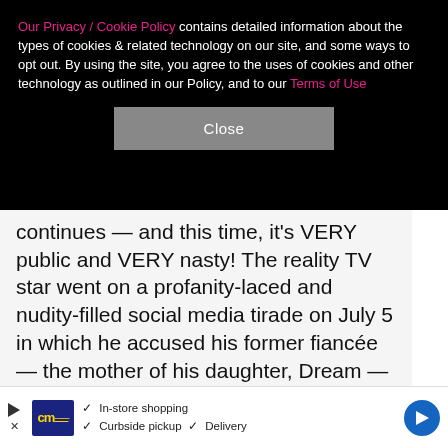Our Privacy / Cookie Policy contains detailed information about the types of cookies & related technology on our site, and some ways to opt out. By using the site, you agree to the uses of cookies and other technology as outlined in our Policy, and to our Terms of Use
Close
continues — and this time, it's VERY public and VERY nasty! The reality TV star went on a profanity-laced and nudity-filled social media tirade on July 5 in which he accused his former fiancée — the mother of his daughter, Dream — of cheating, drug use, having a baby to get back at her other ex (that would be Tyga) and even lying about how she lost weight after giving birth last year. "Everyone wonders how Chyna lost all that weight after the baby and she lies to everyone," h
[Figure (screenshot): Advertisement banner with CM logo, in-store shopping, curbside pickup, and delivery options with navigation arrow]